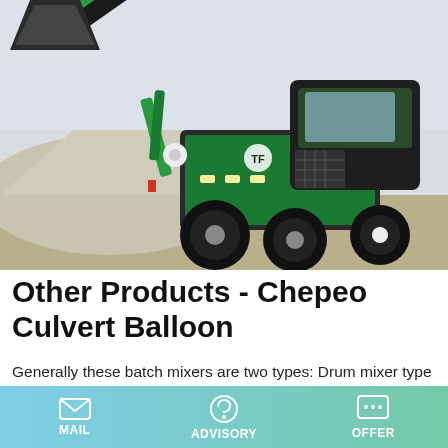[Figure (photo): A green and black self-loading concrete mixer truck/mobile batching plant on a construction site with gravel piles in the background.]
Other Products - Chepeo Culvert Balloon
Generally these batch mixers are two types: Drum mixer type and; Pan mixers type; Pan Type Concrete Mixers. These pan concrete mixers consists of a pan in a circular shape that is used to mix the concrete. In this pan, concrete mixing is done by series of balded arrange in the shape of star inside the pan.
MAIL   ADVISORY   OFFER